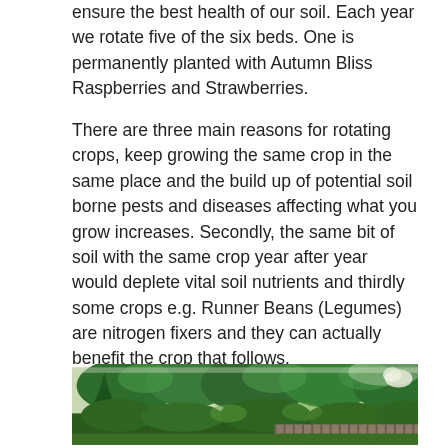ensure the best health of our soil. Each year we rotate five of the six beds. One is permanently planted with Autumn Bliss Raspberries and Strawberries.
There are three main reasons for rotating crops, keep growing the same crop in the same place and the build up of potential soil borne pests and diseases affecting what you grow increases. Secondly, the same bit of soil with the same crop year after year would deplete vital soil nutrients and thirdly some crops e.g. Runner Beans (Legumes) are nitrogen fixers and they can actually benefit the crop that follows.
[Figure (photo): A garden photograph showing lush green trees and shrubs with a wooden fence visible in the background, taken in summer.]